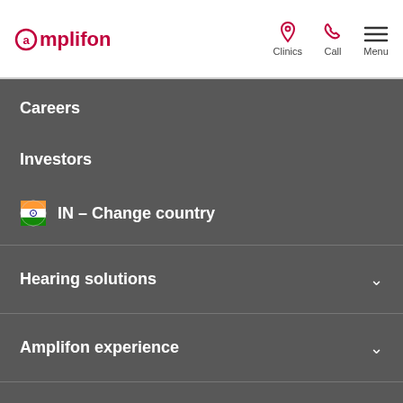amplifon | Clinics | Call | Menu
Careers
Investors
IN – Change country
Hearing solutions
Amplifon experience
Recognising hearing loss